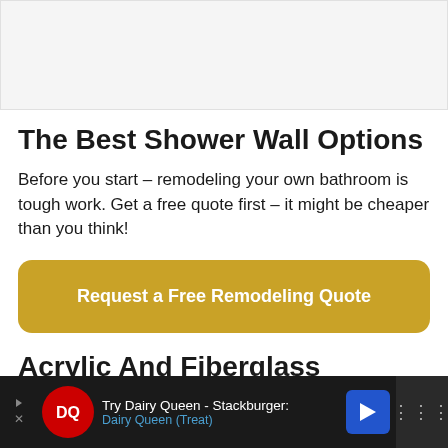[Figure (photo): Placeholder image area at top of page (gray/white background)]
The Best Shower Wall Options
Before you start – remodeling your own bathroom is tough work. Get a free quote first – it might be cheaper than you think!
Request a Free Remodeling Quote
Acrylic And Fiberglass
[Figure (other): Advertisement bar at bottom: Dairy Queen Stackburger ad with DQ logo, navigation arrows, and mute button]